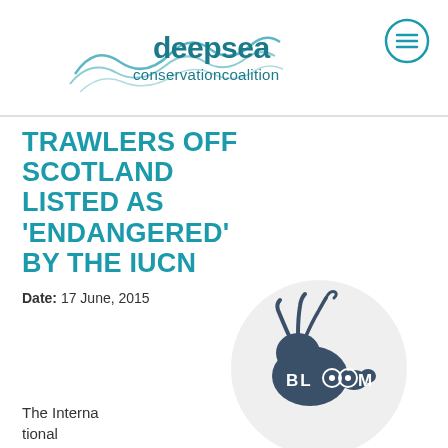[Figure (logo): Deep Sea Conservation Coalition logo with wave graphic and text 'deepsea conservation coalition' in teal]
[Figure (other): Hamburger menu icon in a teal circle]
TRAWLERS OFF SCOTLAND LISTED AS 'ENDANGERED' BY THE IUCN
Date: 17 June, 2015
The International Union for the Conserv
[Figure (logo): BLOOM association logo — dark blue squid/octopus inside a light grey circle with text 'BLOOM']